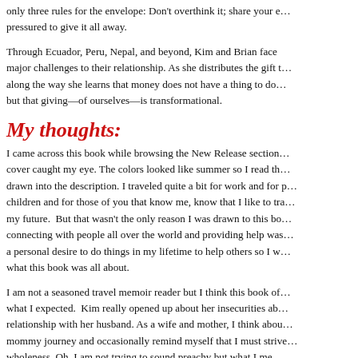only three rules for the envelope: Don't overthink it; share your e… pressured to give it all away.
Through Ecuador, Peru, Nepal, and beyond, Kim and Brian face major challenges to their relationship. As she distributes the gift t… along the way she learns that money does not have a thing to do… but that giving—of ourselves—is transformational.
My thoughts:
I came across this book while browsing the New Release section… cover caught my eye. The colors looked like summer so I read th… drawn into the description. I traveled quite a bit for work and for p… children and for those of you that know me, know that I like to tra… my future.  But that wasn't the only reason I was drawn to this bo… connecting with people all over the world and providing help was… a personal desire to do things in my lifetime to help others so I w… what this book was all about.
I am not a seasoned travel memoir reader but I think this book of… what I expected.  Kim really opened up about her insecurities ab… relationship with her husband. As a wife and mother, I think abou… mommy journey and occasionally remind myself that I must strive… wholeness. Oh, I am not trying to sound preachy but what I me…